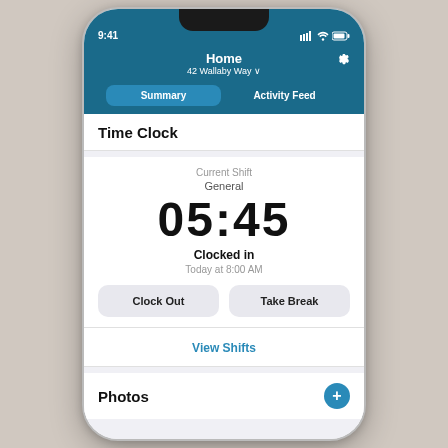[Figure (screenshot): Mobile app screenshot showing a time clock application. The phone frame displays a teal/blue header with 'Home' title and '42 Wallaby Way' address, navigation tabs for 'Summary' and 'Activity Feed', a Time Clock section showing current shift 'General', elapsed time '05:45', status 'Clocked in', clock-in time 'Today at 8:00 AM', buttons for 'Clock Out' and 'Take Break', a 'View Shifts' link, and a 'Photos' section header with a plus button.]